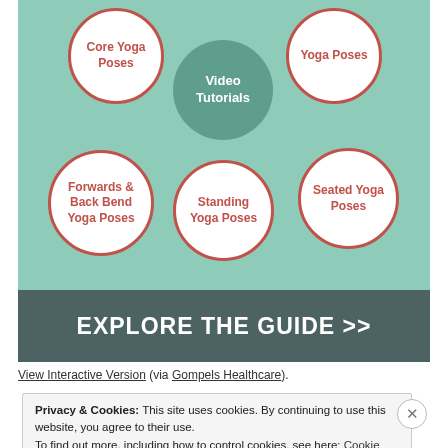[Figure (infographic): Yoga guide bubble diagram showing Video Tutorials center circle surrounded by: Core Yoga Poses, Yoga Poses, Forwards & Back Bend Yoga Poses, Standing Yoga Poses, Seated Yoga Poses. Below is a dark teal bar reading EXPLORE THE GUIDE >>]
View Interactive Version (via Gompels Healthcare).
Privacy & Cookies: This site uses cookies. By continuing to use this website, you agree to their use. To find out more, including how to control cookies, see here: Cookie Policy
Close and accept